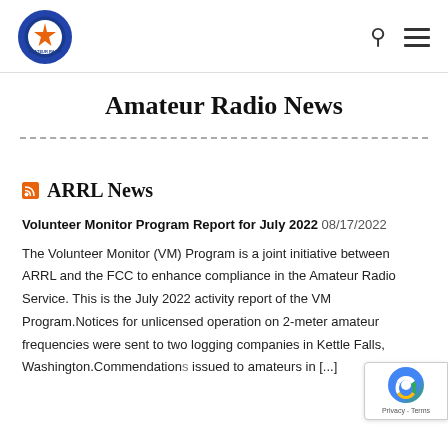Amateur Radio Club logo, search icon, menu icon
Amateur Radio News
ARRL News
Volunteer Monitor Program Report for July 2022 08/17/2022 The Volunteer Monitor (VM) Program is a joint initiative between ARRL and the FCC to enhance compliance in the Amateur Radio Service. This is the July 2022 activity report of the VM Program.Notices for unlicensed operation on 2-meter amateur frequencies were sent to two logging companies in Kettle Falls, Washington.Commendations issued to amateurs in [...]